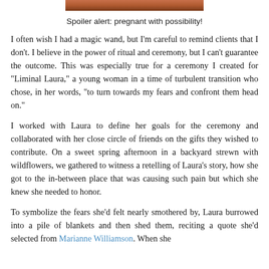[Figure (photo): Partial photo at top of page, cropped, showing warm orange/brown tones]
Spoiler alert: pregnant with possibility!
I often wish I had a magic wand, but I'm careful to remind clients that I don't. I believe in the power of ritual and ceremony, but I can't guarantee the outcome. This was especially true for a ceremony I created for "Liminal Laura," a young woman in a time of turbulent transition who chose, in her words, "to turn towards my fears and confront them head on."
I worked with Laura to define her goals for the ceremony and collaborated with her close circle of friends on the gifts they wished to contribute. On a sweet spring afternoon in a backyard strewn with wildflowers, we gathered to witness a retelling of Laura's story, how she got to the in-between place that was causing such pain but which she knew she needed to honor.
To symbolize the fears she'd felt nearly smothered by, Laura burrowed into a pile of blankets and then shed them, reciting a quote she'd selected from Marianne Williamson. When she